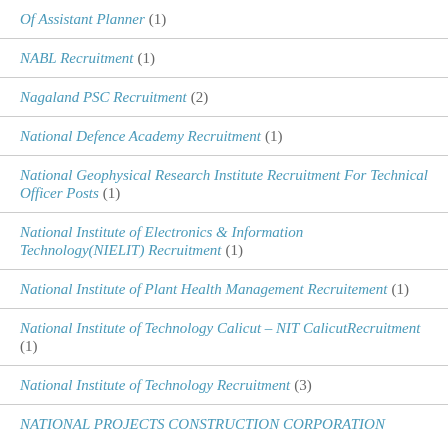Of Assistant Planner (1)
NABL Recruitment (1)
Nagaland PSC Recruitment (2)
National Defence Academy Recruitment (1)
National Geophysical Research Institute Recruitment For Technical Officer Posts (1)
National Institute of Electronics & Information Technology(NIELIT) Recruitment (1)
National Institute of Plant Health Management Recruitement (1)
National Institute of Technology Calicut – NIT CalicutRecruitment (1)
National Institute of Technology Recruitment (3)
NATIONAL PROJECTS CONSTRUCTION CORPORATION LTD (NPCC) Recruitment (1)